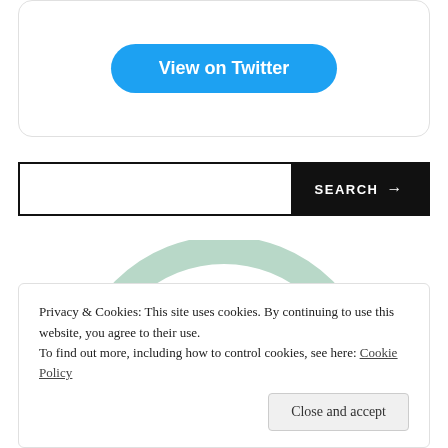[Figure (screenshot): Twitter card with 'View on Twitter' blue rounded button]
[Figure (screenshot): Search bar with white input area and black 'SEARCH →' button on the right]
[Figure (logo): Faint mint-green circular logo in background]
Privacy & Cookies: This site uses cookies. By continuing to use this website, you agree to their use. To find out more, including how to control cookies, see here: Cookie Policy
Close and accept